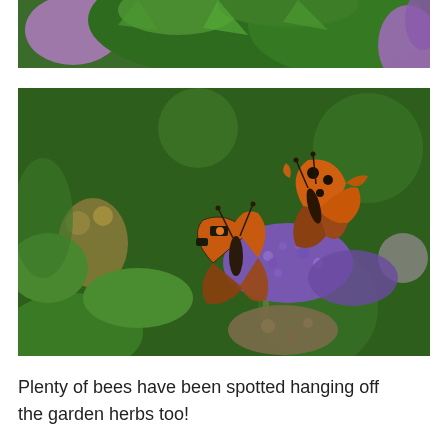[Figure (photo): Partial view from above showing purple/lavender buddleia flowers and green leaves with a blurred garden background]
[Figure (photo): Two butterflies — a Small Tortoiseshell and a Comma — feeding on purple buddleia flowers surrounded by green garden foliage]
Plenty of bees have been spotted hanging off the garden herbs too!